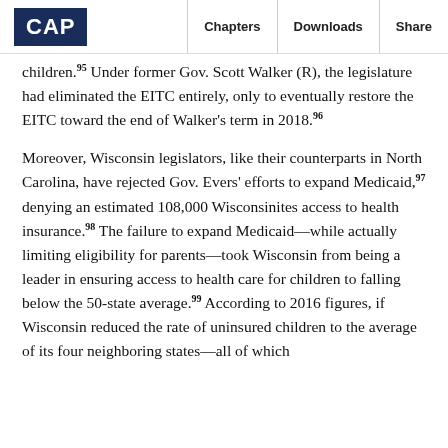CAP | Chapters | Downloads | Share
children.95 Under former Gov. Scott Walker (R), the legislature had eliminated the EITC entirely, only to eventually restore the EITC toward the end of Walker's term in 2018.96
Moreover, Wisconsin legislators, like their counterparts in North Carolina, have rejected Gov. Evers' efforts to expand Medicaid,97 denying an estimated 108,000 Wisconsinites access to health insurance.98 The failure to expand Medicaid—while actually limiting eligibility for parents—took Wisconsin from being a leader in ensuring access to health care for children to falling below the 50-state average.99 According to 2016 figures, if Wisconsin reduced the rate of uninsured children to the average of its four neighboring states—all of which